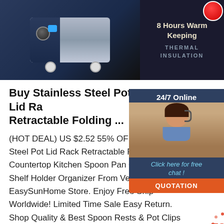[Figure (photo): Top banner showing a stainless steel kitchen appliance on the left, with '8 Hours Warm Keeping' and 'THERMAL INSULATION' text on right against dark background. Red circular logo top right.]
[Figure (photo): 24/7 Online chat widget on the right side showing a female customer service agent wearing a headset, with 'Click here for free chat!' text and an orange QUOTATION button.]
Buy Stainless Steel Pot Lid Rack Retractable Folding ...
(HOT DEAL) US $2.52 55% OFF Buy Stainless Steel Pot Lid Rack Retractable Folding Countertop Kitchen Spoon Pan Cover Shelf Holder Organizer From Vendor EasySunHome Store. Enjoy Free Shipping Worldwide! Limited Time Sale Easy Return. Shop Quality & Best Spoon Rests & Pot Clips Directly From China Spoon Rests & Pot Clips Suppliers.
[Figure (logo): TOP badge with red text and dotted circular border, bottom right area]